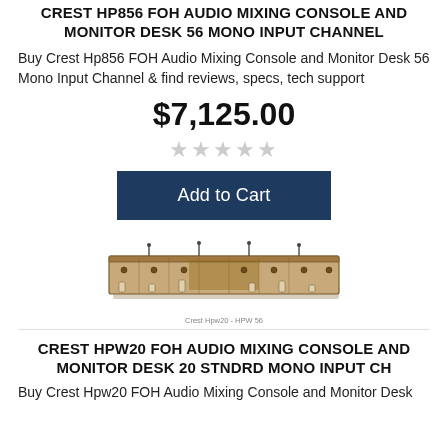CREST HP856 FOH AUDIO MIXING CONSOLE AND MONITOR DESK 56 MONO INPUT CHANNEL
Buy Crest Hp856 FOH Audio Mixing Console and Monitor Desk 56 Mono Input Channel & find reviews, specs, tech support
$7,125.00
[Figure (other): Five empty star rating icons]
Add to Cart
[Figure (photo): Photo of Crest HPW20 FOH Audio Mixing Console and Monitor Desk product, a wide mixing board viewed from above at an angle]
Crest Hpw20 - HPW 56
CREST HPW20 FOH AUDIO MIXING CONSOLE AND MONITOR DESK 20 STNDRD MONO INPUT CH
Buy Crest Hpw20 FOH Audio Mixing Console and Monitor Desk